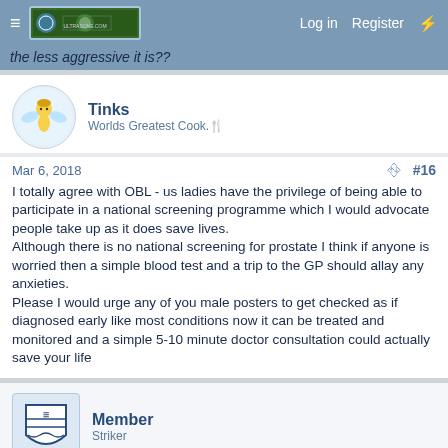≡  [logo]  Log in  Register  ⚡
the less aggressive it is??
Tinks
Worlds Greatest Cook.🍴
Mar 6, 2018  #16
I totally agree with OBL - us ladies have the privilege of being able to participate in a national screening programme which I would advocate people take up as it does save lives.
Although there is no national screening for prostate I think if anyone is worried then a simple blood test and a trip to the GP should allay any anxieties.
Please I would urge any of you male posters to get checked as if diagnosed early like most conditions now it can be treated and monitored and a simple 5-10 minute doctor consultation could actually save your life
Member
Striker
Mar 6, 2018  #17